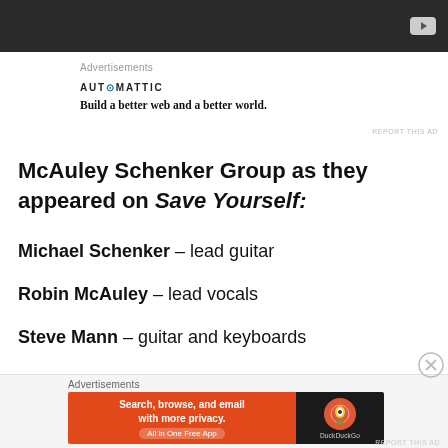[Figure (screenshot): Dark video player bar at top with YouTube play button icon]
Advertisements
[Figure (logo): Automattic logo with tagline: Build a better web and a better world.]
REPORT THIS AD
McAuley Schenker Group as they appeared on Save Yourself:
Michael Schenker – lead guitar
Robin McAuley – lead vocals
Steve Mann – guitar and keyboards
Advertisements
[Figure (screenshot): DuckDuckGo advertisement banner: Search, browse, and email with more privacy. All in One Free App]
REPORT THIS AD